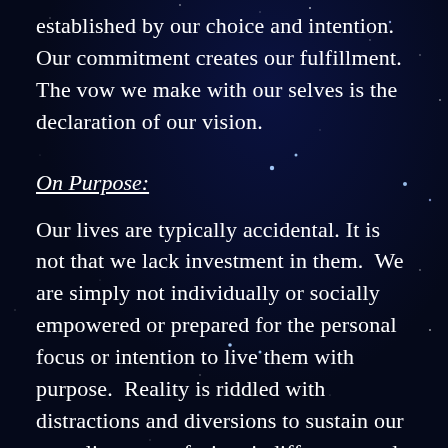established by our choice and intention.  Our commitment creates our fulfillment.  The vow we make with our selves is the declaration of our vision.
On Purpose:
Our lives are typically accidental. It is not that we lack investment in them.  We are simply not individually or socially empowered or prepared for the personal focus or intention to live them with purpose.  Reality is riddled with distractions and diversions to sustain our compliance, confusion, indifference and resignation.  Our destiny is distorted by a super-imposed obligation to society.  When we